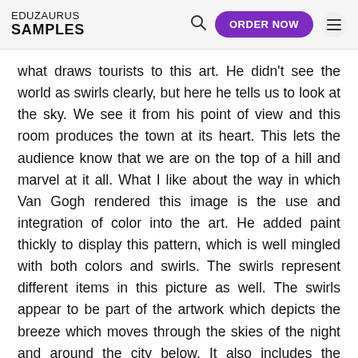EDUZAURUS SAMPLES | ORDER NOW
what draws tourists to this art. He didn't see the world as swirls clearly, but here he tells us to look at the sky. We see it from his point of view and this room produces the town at its heart. This lets the audience know that we are on the top of a hill and marvel at it all. What I like about the way in which Van Gogh rendered this image is the use and integration of color into the art. He added paint thickly to display this pattern, which is well mingled with both colors and swirls. The swirls represent different items in this picture as well. The swirls appear to be part of the artwork which depicts the breeze which moves through the skies of the night and around the city below. It also includes the clouds that seem to move through the wind drawing. As Van Gogh drew, he generally liked a black palette, and this drawing incorporates a variety of dark colors. He does not just render this beautiful scenery in one hue. The whole paint is combined to